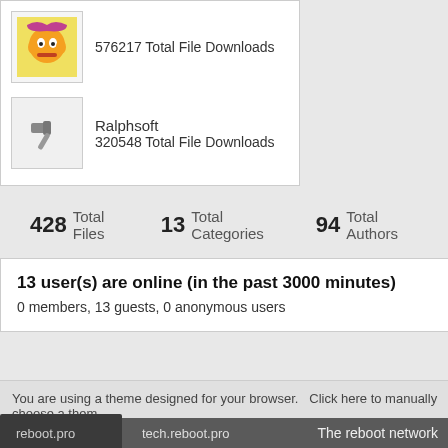[Figure (illustration): Cartoon avatar icon (colorful character face)]
576217 Total File Downloads
[Figure (illustration): Hammer/tool icon for Ralphsoft]
Ralphsoft
320548 Total File Downloads
428 Total Files   13 Total Categories   94 Total Authors   64
13 user(s) are online (in the past 3000 minutes)
0 members, 13 guests, 0 anonymous users
You are using a theme designed for your browser. Click here to manually choose a theme
Site policies   Contact us
reboot.pro   tech.reboot.pro   The reboot network